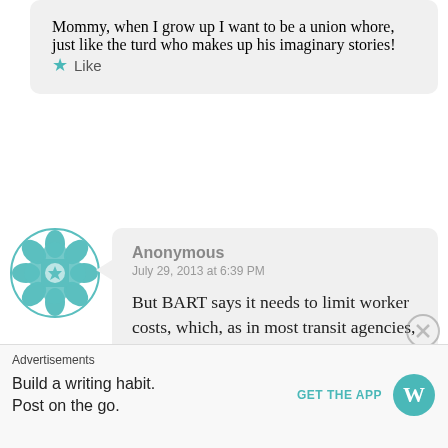Mommy, when I grow up I want to be a union whore, just like the turd who makes up his imaginary stories!
★ Like
[Figure (illustration): Teal geometric floral avatar icon]
Anonymous
July 29, 2013 at 6:39 PM
But BART says it needs to limit worker costs, which, as in most transit agencies, are the biggest expense in its budget. If overall
Advertisements
Build a writing habit.
Post on the go.
GET THE APP
[Figure (logo): WordPress logo]